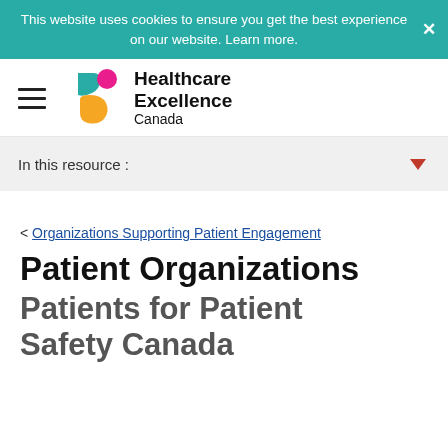This website uses cookies to ensure you get the best experience on our website. Learn more.
[Figure (logo): Healthcare Excellence Canada logo with teal and orange abstract figures and bold text]
In this resource :
< Organizations Supporting Patient Engagement
Patient Organizations
Patients for Patient Safety Canada